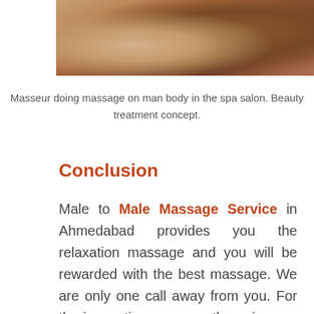[Figure (photo): Cropped photo of a masseur doing massage on man body in a spa salon with warm brown tones.]
Masseur doing massage on man body in the spa salon. Beauty treatment concept.
Conclusion
Male to Male Massage Service in Ahmedabad provides you the relaxation massage and you will be rewarded with the best massage. We are only one call away from you. For the innovative massage therapies you can always come to us and we assure you that your body will thank you and feel satisfied after getting the massage from us. Our main aim is to make the Customers